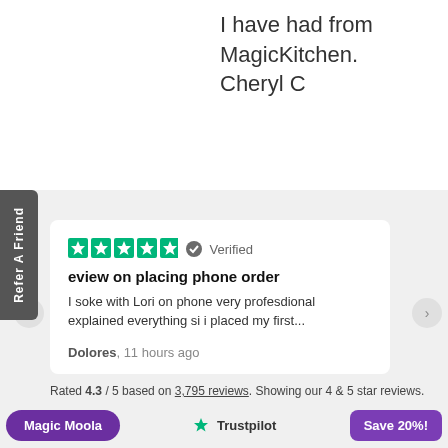I have had from MagicKitchen. Cheryl C
Refer A Friend
[Figure (screenshot): Trustpilot review card with 5 green stars and Verified badge, review title 'eview on placing phone order', review body 'I soke with Lori on phone very profesdional explained everything si i placed my first...', reviewer 'Dolores, 11 hours ago']
Rated 4.3 / 5 based on 3,795 reviews. Showing our 4 & 5 star reviews.
Magic Moola
[Figure (logo): Trustpilot star logo with text 'Trustpilot']
Save 20%!